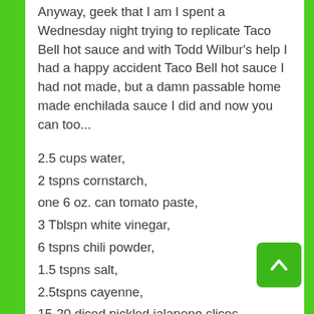Anyway, geek that I am I spent a Wednesday night trying to replicate Taco Bell hot sauce and with Todd Wilbur's help I had a happy accident Taco Bell hot sauce I had not made, but a damn passable home made enchilada sauce I did and now you can too...
2.5 cups water,
2 tspns cornstarch,
one 6 oz. can tomato paste,
3 Tblspn white vinegar,
6 tspns chili powder,
1.5 tspns salt,
2.5tspns cayenne,
15-20 diced pickled jalapeno slices.
Step 1. Dissolve the cornstarch in cold water in a medium sauce pan.
Step 2. Add the remaining ingredients and stir well, bring the...